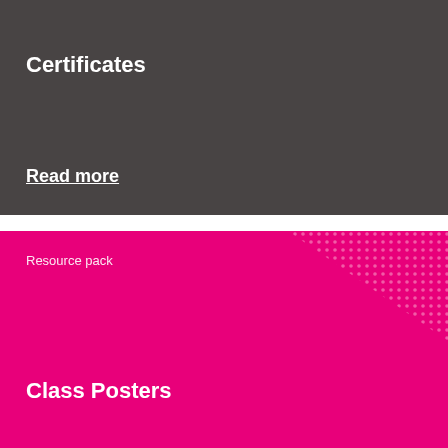Certificates
Read more
Resource pack
Class Posters